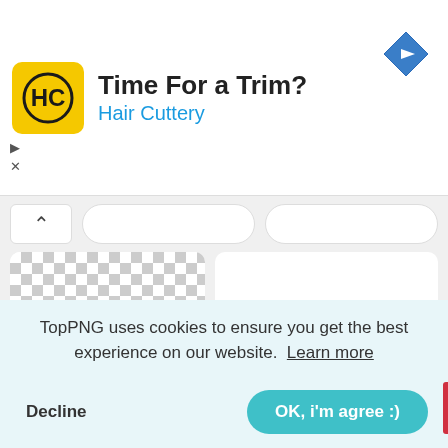[Figure (screenshot): Hair Cuttery advertisement banner with yellow logo showing 'HC', title 'Time For a Trim?', subtitle 'Hair Cuttery' in blue, and a blue diamond navigation arrow icon on the right. Ad controls (play and X) are on the left.]
[Figure (screenshot): Website interface showing a sticker image with checkerboard transparency background. The sticker shows handwritten-style text 'All you need is Love' with a heart replacing the 'o' in Love. Below shows partial text 'is' and 'Stic'. A cookie consent banner overlays the bottom with text 'TopPNG uses cookies to ensure you get the best experience on our website. Learn more' and buttons 'Decline' and 'OK, i'm agree :)'.]